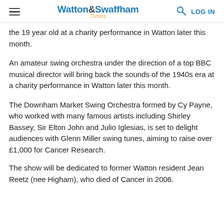Watton & Swaffham Times — LOG IN
the 19 year old at a charity performance in Watton later this month.
An amateur swing orchestra under the direction of a top BBC musical director will bring back the sounds of the 1940s era at a charity performance in Watton later this month.
The Downham Market Swing Orchestra formed by Cy Payne, who worked with many famous artists including Shirley Bassey, Sir Elton John and Julio Iglesias, is set to delight audiences with Glenn Miller swing tunes, aiming to raise over £1,000 for Cancer Research.
The show will be dedicated to former Watton resident Jean Reetz (nee Higham), who died of Cancer in 2006.